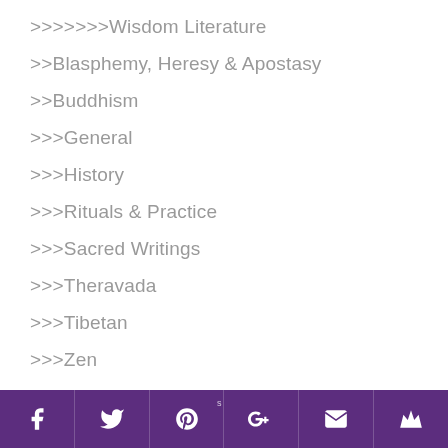>>>>>>>>Wisdom Literature
>>Blasphemy, Heresy & Apostasy
>>Buddhism
>>>>General
>>>>History
>>>>Rituals & Practice
>>>>Sacred Writings
>>>>Theravada
>>>>Tibetan
>>>>Zen
>>Christian Church
>>>>General
>>>>Administration